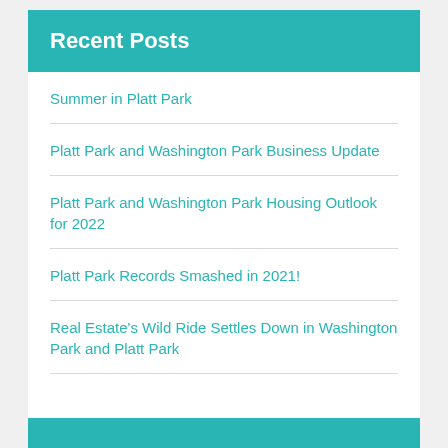Recent Posts
Summer in Platt Park
Platt Park and Washington Park Business Update
Platt Park and Washington Park Housing Outlook for 2022
Platt Park Records Smashed in 2021!
Real Estate's Wild Ride Settles Down in Washington Park and Platt Park